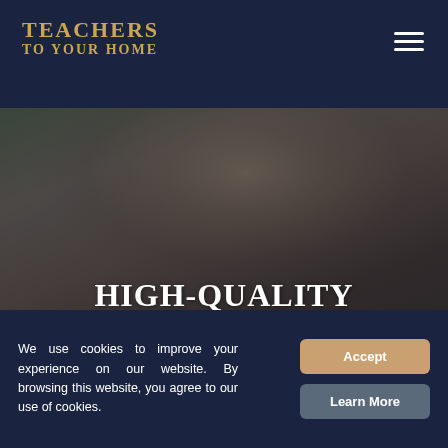TEACHERS TO YOUR HOME
[Figure (photo): Blurred background photo of a young male student looking thoughtful, with greenery in the background. Dark overlay applied for text legibility.]
HIGH-QUALITY TUTORING FROM A QUALIFIED TEACHER IN IVER
We use cookies to improve your experience on our website. By browsing this website, you agree to our use of cookies.